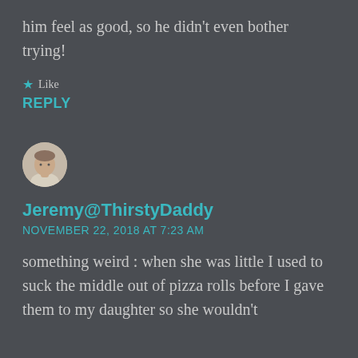him feel as good, so he didn't even bother trying!
★ Like
REPLY
[Figure (photo): Circular avatar photo of a man with short hair wearing a light colored shirt]
Jeremy@ThirstyDaddy
NOVEMBER 22, 2018 AT 7:23 AM
something weird : when she was little I used to suck the middle out of pizza rolls before I gave them to my daughter so she wouldn't